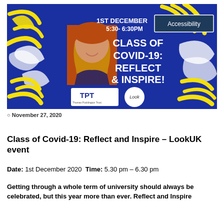[Figure (illustration): Event banner on a blue background with yellow and white brush strokes. Shows a photo of a young woman with red hair, logos for Thomas Pocklington Trust (TPT) and LookUK, text '1ST DECEMBER 5:30-6:30PM', 'Accessibility' button, and title 'CLASS OF COVID-19: REFLECT & INSPIRE!']
November 27, 2020
Class of Covid-19: Reflect and Inspire – LookUK event
Date: 1st December 2020   Time: 5.30 pm – 6.30 pm
Getting through a whole term of university should always be celebrated, but this year more than ever. Reflect and Inspire